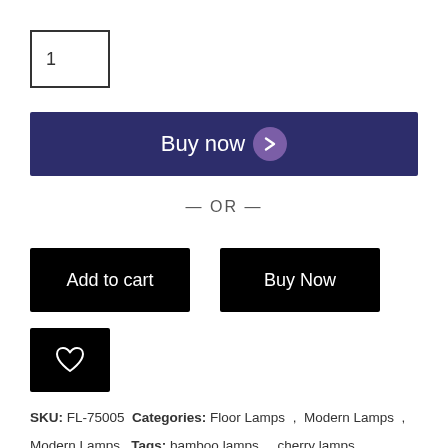1
[Figure (other): Buy now button with dark navy background and purple circle arrow icon]
— OR —
[Figure (other): Add to cart black button]
[Figure (other): Buy Now black button]
[Figure (other): Wishlist heart icon black button]
SKU: FL-75005 Categories: Floor Lamps , Modern Lamps ,
Modern Lamps   Tags: bamboo lamps , cherry lamps ,